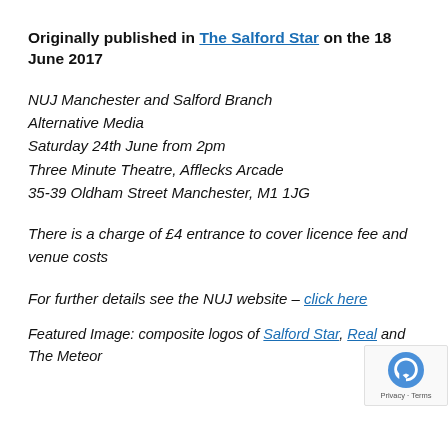Originally published in The Salford Star on the 18 June 2017
NUJ Manchester and Salford Branch
Alternative Media
Saturday 24th June from 2pm
Three Minute Theatre, Afflecks Arcade
35-39 Oldham Street Manchester, M1 1JG
There is a charge of £4 entrance to cover licence fee and venue costs
For further details see the NUJ website – click here
Featured Image: composite logos of Salford Star, Real and The Meteor